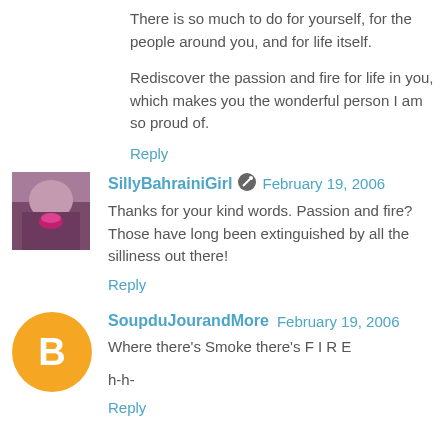There is so much to do for yourself, for the people around you, and for life itself.
Rediscover the passion and fire for life in you, which makes you the wonderful person I am so proud of.
Reply
SillyBahrainiGirl  February 19, 2006
Thanks for your kind words. Passion and fire? Those have long been extinguished by all the silliness out there!
Reply
SoupduJourandMore  February 19, 2006
Where there's Smoke there's F I R E
h-h-
Reply